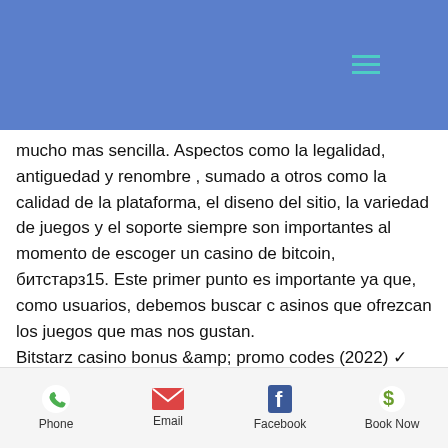nes, sten tarea
mucho mas sencilla. Aspectos como la legalidad, antiguedad y renombre , sumado a otros como la calidad de la plataforma, el diseno del sitio, la variedad de juegos y el soporte siempre son importantes al momento de escoger un casino de bitcoin, битстарз15. Este primer punto es importante ya que, como usuarios, debemos buscar c asinos que ofrezcan los juegos que mas nos gustan.
Bitstarz casino bonus &amp; promo codes (2022) ✓ free spins, no deposit and welcome bonus ✓ claim bitstarz casino bonuses. Bitstarz casino is one of the best bitcoin casinos in the current gambling market offering all new players 20 free spins no
Phone  Email  Facebook  Book Now